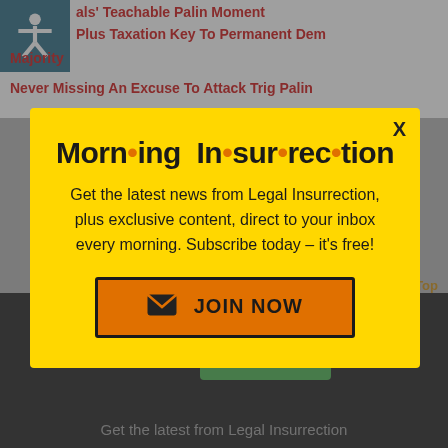als' Teachable Palin Moment
Plus Taxation Key To Permanent Dem Majority
Never Missing An Excuse To Attack Trig Palin
[Figure (screenshot): Modal popup for Morning Insurrection newsletter subscription with yellow background, large bold title 'Morning Insurrection' with orange dots, subscription text, and orange JOIN NOW button]
Back to Top
fiverr
Start Now
Get the latest from Legal Insurrection